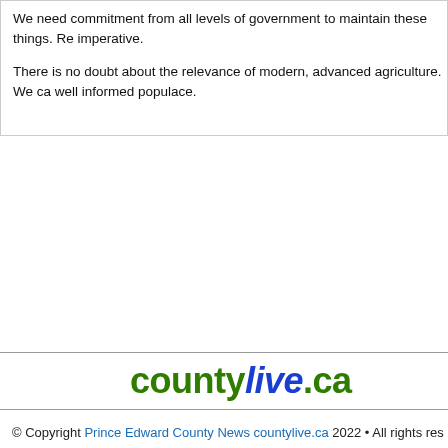We need commitment from all levels of government to maintain these things. Re imperative.

There is no doubt about the relevance of modern, advanced agriculture. We ca well informed populace.
[Figure (logo): countylive.ca logo with 'county' in green bold, 'live' in blue bold italic, '.ca' in green bold]
© Copyright Prince Edward County News countylive.ca 2022 • All rights res